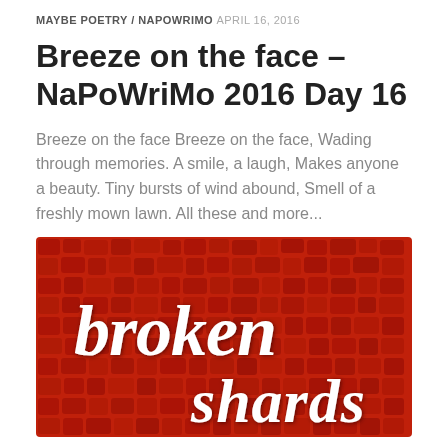MAYBE POETRY / NAPOWRIMO   APRIL 16, 2016
Breeze on the face – NaPoWriMo 2016 Day 16
Breeze on the face Breeze on the face, Wading through memories. A smile, a laugh, Makes anyone a beauty. Tiny bursts of wind abound, Smell of a freshly mown lawn. All these and more...
[Figure (logo): Red textured crocodile-skin background with white stylized text reading 'broken shards' — a blog or publication logo]